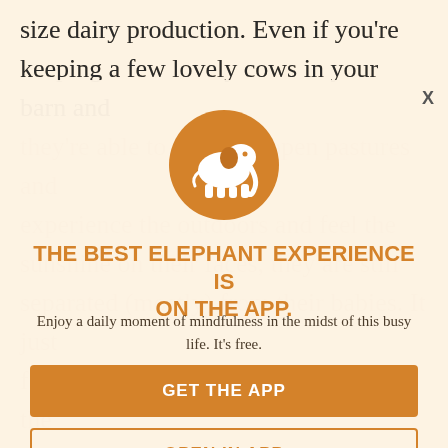size dairy production. Even if you're keeping a few lovely cows in your barn and they're able to graze on open pastures and experience the outdoors and feel the sunshine on their faces, they are still separated (mostly) from their babies. It just for their milk production. Cows allow the are huge and drink a lot of milk as they should. In fact, are separated immediately, and the fate of the milk is to
[Figure (logo): Orange circle with white elephant icon — app logo]
THE BEST ELEPHANT EXPERIENCE IS ON THE APP.
Enjoy a daily moment of mindfulness in the midst of this busy life. It's free.
GET THE APP
OPEN IN APP